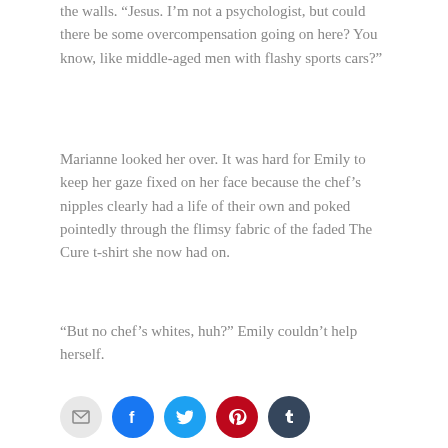the walls. “Jesus. I’m not a psychologist, but could there be some overcompensation going on here? You know, like middle-aged men with flashy sports cars?”
Marianne looked her over. It was hard for Emily to keep her gaze fixed on her face because the chef’s nipples clearly had a life of their own and poked pointedly through the flimsy fabric of the faded The Cure t-shirt she now had on.
“But no chef’s whites, huh?” Emily couldn’t help herself.
[Figure (infographic): Social sharing buttons: email (grey), Facebook (blue), Twitter (light blue), Pinterest (red), Tumblr (dark blue)]